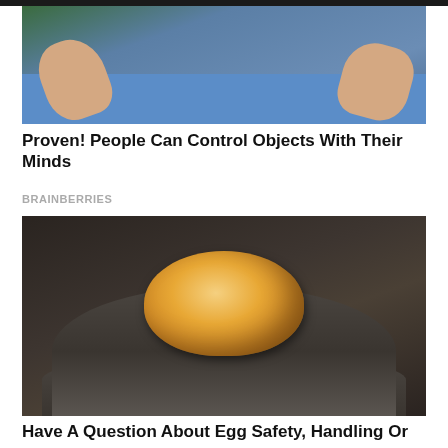[Figure (photo): Photo of a person in a blue shirt with hands outstretched, suggesting telekinesis or object control]
Proven! People Can Control Objects With Their Minds
BRAINBERRIES
[Figure (photo): Close-up photo of a translucent amber/golden egg without a shell resting on a dark textured hand or surface]
Have A Question About Egg Safety, Handling Or